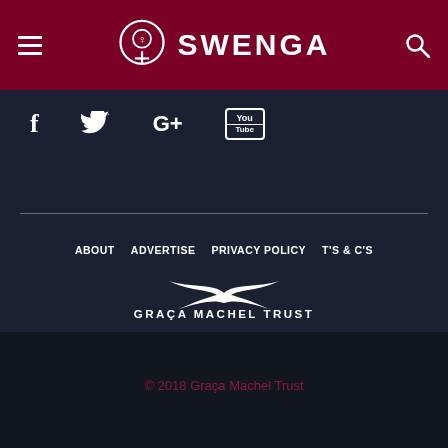SWENGA
[Figure (logo): SWENGA website header with circular emblem logo, hamburger menu icon on left, search icon on right, dark red background]
[Figure (infographic): Social media icons row: Facebook (f), Twitter (bird), Google+ (G+), YouTube (You/Tube box) on dark navy background]
ABOUT  ADVERTISE  PRIVACY POLICY  T'S & C'S
[Figure (logo): Graça Machel Trust logo - stylized bird / seagull above text]
GRAÇA MACHEL TRUST
© 2018 Graça Machel Trust